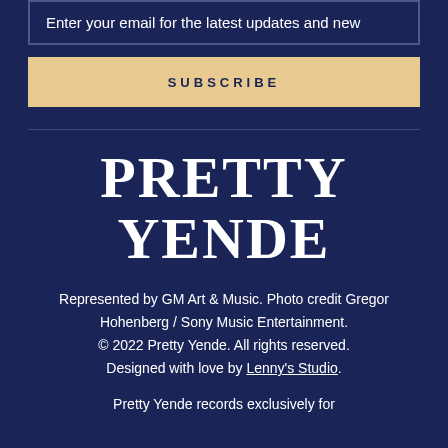Enter your email for the latest updates and new
SUBSCRIBE
PRETTY YENDE
Represented by GM Art & Music. Photo credit Gregor Hohenberg / Sony Music Entertainment. © 2022 Pretty Yende. All rights reserved. Designed with love by Lenny's Studio.
Pretty Yende records exclusively for